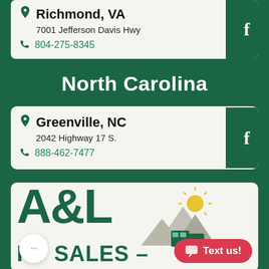Richmond, VA
7001 Jefferson Davis Hwy
804-275-8345
North Carolina
Greenville, NC
2042 Highway 17 S.
888-462-7477
[Figure (logo): A&L RV Sales logo with mountain and sun illustration, chat bubble with ellipsis, and 'Text us!' button]